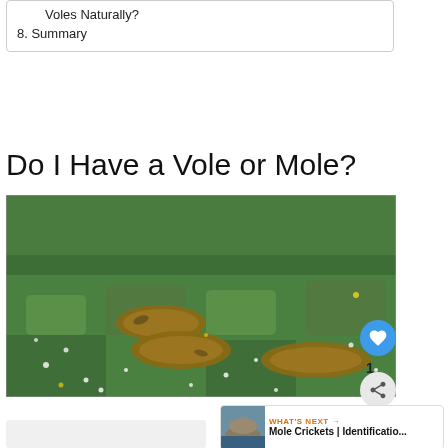Voles Naturally?
8. Summary
Do I Have a Vole or Mole?
[Figure (photo): Photograph of a green lawn with several bare dirt mounds or tunnels visible across the grass, indicative of mole or vole activity. Small white flowers are scattered throughout the grass.]
[Figure (photo): Thumbnail image for 'What's Next' widget showing rocky coastal scene]